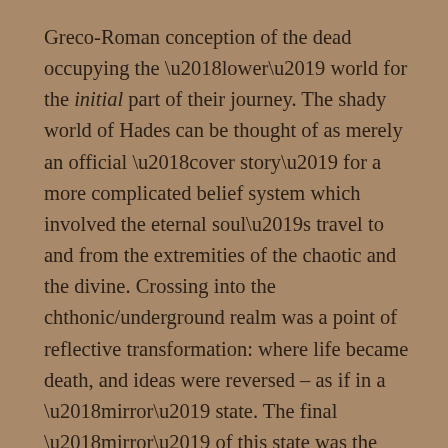Greco-Roman conception of the dead occupying the ‘lower’ world for the initial part of their journey. The shady world of Hades can be thought of as merely an official ‘cover story’ for a more complicated belief system which involved the eternal soul’s travel to and from the extremities of the chaotic and the divine. Crossing into the chthonic/underground realm was a point of reflective transformation: where life became death, and ideas were reversed – as if in a ‘mirror’ state. The final ‘mirror’ of this state was the waters which sat in the earth’s deepest recesses into which they flowed, and from which they mysteriously returned...
Of course, we come across this mythologically in the subterranean pools, lakes and rivers which the heroes and gods who visit and return from Hades invariably encounter. The walled gates...